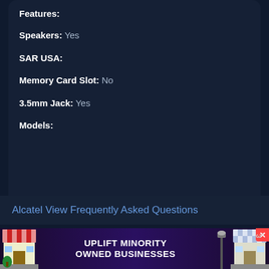Features:
Speakers: Yes
SAR USA:
Memory Card Slot: No
3.5mm Jack: Yes
Models:
Alcatel View Frequently Asked Questions
Is the alcatel View waterproof or water-
[Figure (infographic): Advertisement banner: UPLIFT MINORITY OWNED BUSINESSES with store illustrations on left and right sides and a close button]